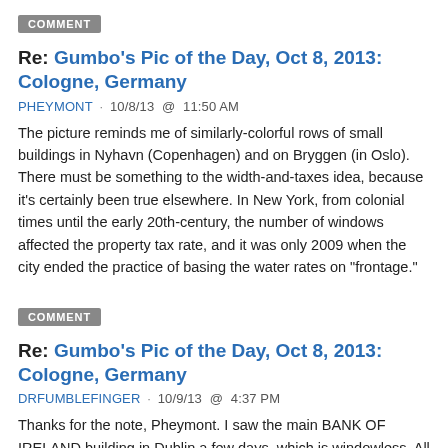COMMENT
Re: Gumbo's Pic of the Day, Oct 8, 2013: Cologne, Germany
PHEYMONT · 10/8/13  @  11:50 AM
The picture reminds me of similarly-colorful rows of small buildings in Nyhavn (Copenhagen) and on Bryggen (in Oslo). There must be something to the width-and-taxes idea, because it's certainly been true elsewhere. In New York, from colonial times until the early 20th-century, the number of windows affected the property tax rate, and it was only 2009 when the city ended the practice of basing the water rates on "frontage."
COMMENT
Re: Gumbo's Pic of the Day, Oct 8, 2013: Cologne, Germany
DRFUMBLEFINGER · 10/9/13  @  4:37 PM
Thanks for the note, Pheymont. I saw the main BANK OF IRELAND building in Dublin a few days, which is windowless. All the window spaces were filled in with rock (in a tasteful manner). Seems the government decided to levy a window tax. The company responded in kind.